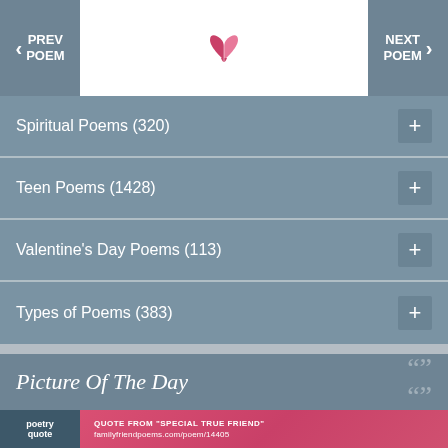PREV POEM | [logo] | NEXT POEM
Spiritual Poems (320)
Teen Poems (1428)
Valentine's Day Poems (113)
Types of Poems (383)
Picture Of The Day
[Figure (illustration): Pink/red themed poetry quote image with 'poetry quote' badge and text: QUOTE FROM "SPECIAL TRUE FRIEND" familyfriendpoems.com/poem/14405]